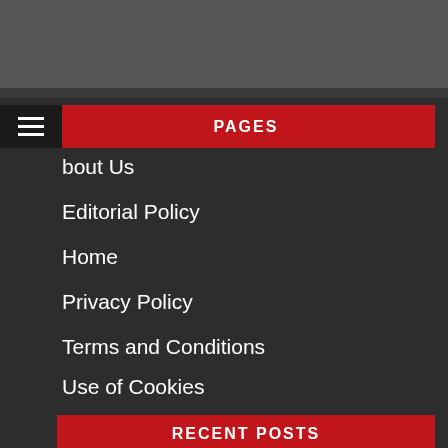PAGES
bout Us
Editorial Policy
Home
Privacy Policy
Terms and Conditions
Use of Cookies
RECENT POSTS
P-Valley Season 3: Release Date or Cancelled?
Best Netflix Web Series To Binge Watch Now !!!
All The Upcoming Projects Of Elon Musk Is Here!!!
who is Elon Musk ?